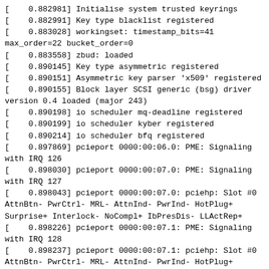[    0.882981] Initialise system trusted keyrings
[    0.882991] Key type blacklist registered
[    0.883028] workingset: timestamp_bits=41 max_order=22 bucket_order=0
[    0.883558] zbud: loaded
[    0.890145] Key type asymmetric registered
[    0.890151] Asymmetric key parser 'x509' registered
[    0.890155] Block layer SCSI generic (bsg) driver version 0.4 loaded (major 243)
[    0.890198] io scheduler mq-deadline registered
[    0.890199] io scheduler kyber registered
[    0.890214] io scheduler bfq registered
[    0.897869] pcieport 0000:00:06.0: PME: Signaling with IRQ 126
[    0.898030] pcieport 0000:00:07.0: PME: Signaling with IRQ 127
[    0.898043] pcieport 0000:00:07.0: pciehp: Slot #0 AttnBtn- PwrCtrl- MRL- AttnInd- PwrInd- HotPlug+ Surprise+ Interlock- NoCompl+ IbPresDis- LLActRep+
[    0.898226] pcieport 0000:00:07.1: PME: Signaling with IRQ 128
[    0.898237] pcieport 0000:00:07.1: pciehp: Slot #0 AttnBtn- PwrCtrl- MRL- AttnInd- PwrInd- HotPlug+ Surprise+ Interlock- NoCompl+ IbPresDis- LLActRep+
[    0.898403] pcieport 0000:00:07.2: PME: Signaling with IRQ 129
[    0.898414] pcieport 0000:00:07.2: pciehp: Slot #0 AttnBtn- PwrCtrl- MRL- AttnInd- PwrInd- HotPlug+ Surprise+ Interlock- NoCompl+ IbPresDis- LLActRep+
[    0.898580] pcieport 0000:00:07.3: PME: Signaling